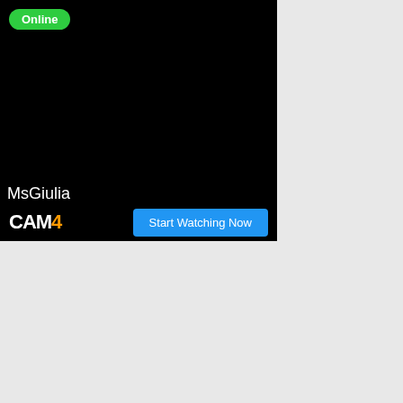[Figure (screenshot): Webcam stream block with black background showing username MsGiulia, Online badge, CAM4 logo and Start Watching Now button]
[Figure (photo): Fapper Chat advertisement banner with a young woman wearing glasses and a white top, with the Fapper Chat logo overlay]